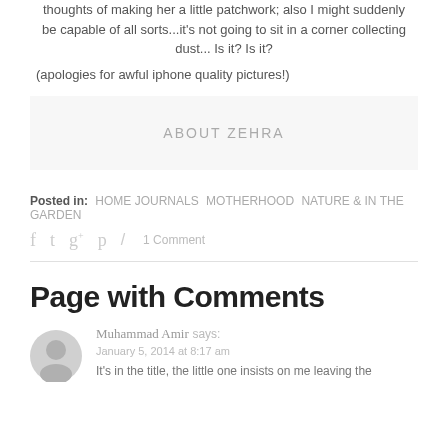thoughts of making her a little patchwork; also I might suddenly be capable of all sorts...it's not going to sit in a corner collecting dust... Is it? Is it?
(apologies for awful iphone quality pictures!)
ABOUT ZEHRA
Posted in: HOME JOURNALS  MOTHERHOOD  NATURE & IN THE GARDEN
f  t  g+  p  /  1 Comment
Page with Comments
Muhammad Amir says:
January 5, 2014 at 8:17 am
It's in the title, the little one insists on me leaving the